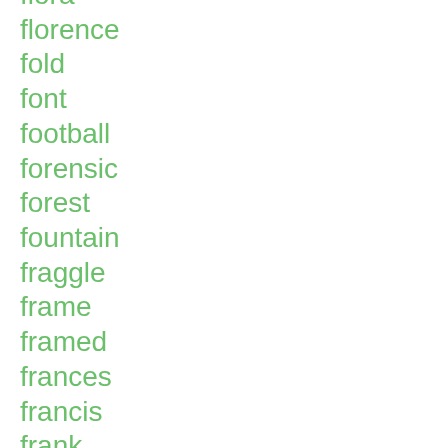flora
florence
fold
font
football
forensic
forest
fountain
fraggle
frame
framed
frances
francis
frank
franklin
frankly
f...